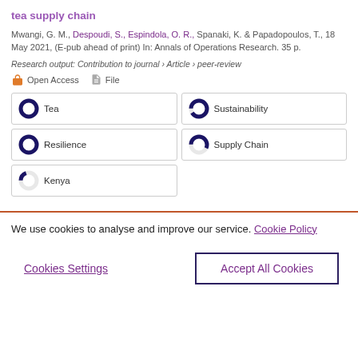tea supply chain
Mwangi, G. M., Despoudi, S., Espindola, O. R., Spanaki, K. & Papadopoulos, T., 18 May 2021, (E-pub ahead of print) In: Annals of Operations Research. 35 p.
Research output: Contribution to journal › Article › peer-review
Open Access   File
Tea 100% | Sustainability 91% | Resilience 100% | Supply Chain 57% | Kenya 19%
We use cookies to analyse and improve our service. Cookie Policy
Cookies Settings   Accept All Cookies